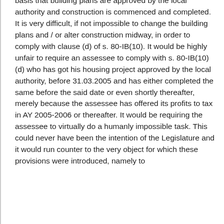basis that building plans are approved by the local authority and construction is commenced and completed. It is very difficult, if not impossible to change the building plans and / or alter construction midway, in order to comply with clause (d) of s. 80-IB(10). It would be highly unfair to require an assessee to comply with s. 80-IB(10)(d) who has got his housing project approved by the local authority, before 31.03.2005 and has either completed the same before the said date or even shortly thereafter, merely because the assessee has offered its profits to tax in AY 2005-2006 or thereafter. It would be requiring the assessee to virtually do a humanly impossible task. This could never have been the intention of the Legislature and it would run counter to the very object for which these provisions were introduced, namely to